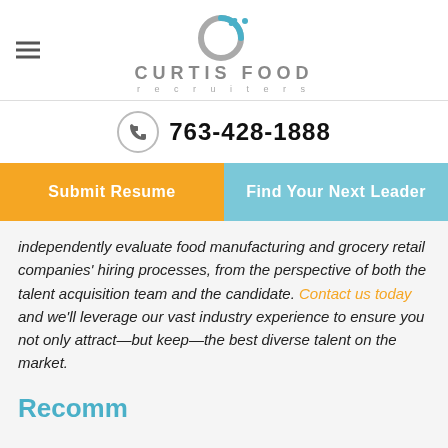[Figure (logo): Curtis Food Recruiters logo with circular arrow icon in blue/grey]
763-428-1888
Submit Resume
Find Your Next Leader
independently evaluate food manufacturing and grocery retail companies' hiring processes, from the perspective of both the talent acquisition team and the candidate. Contact us today and we'll leverage our vast industry experience to ensure you not only attract—but keep—the best diverse talent on the market.
Recommended